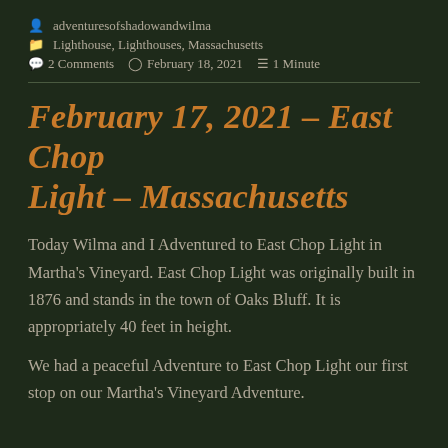adventuresofshadowandwilma
Lighthouse, Lighthouses, Massachusetts
2 Comments  February 18, 2021  1 Minute
February 17, 2021 – East Chop Light – Massachusetts
Today Wilma and I Adventured to East Chop Light in Martha's Vineyard. East Chop Light was originally built in 1876 and stands in the town of Oaks Bluff. It is appropriately 40 feet in height.
We had a peaceful Adventure to East Chop Light our first stop on our Martha's Vineyard Adventure.